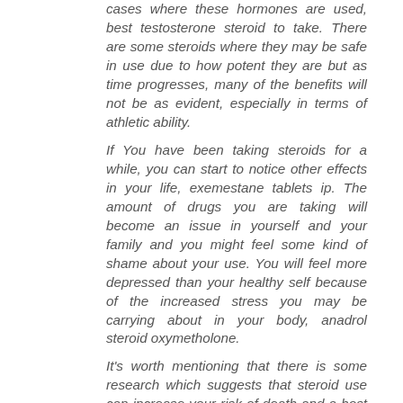cases where these hormones are used, best testosterone steroid to take. There are some steroids where they may be safe in use due to how potent they are but as time progresses, many of the benefits will not be as evident, especially in terms of athletic ability.
If You have been taking steroids for a while, you can start to notice other effects in your life, exemestane tablets ip. The amount of drugs you are taking will become an issue in yourself and your family and you might feel some kind of shame about your use. You will feel more depressed than your healthy self because of the increased stress you may be carrying about in your body, anadrol steroid oxymetholone.
It's worth mentioning that there is some research which suggests that steroid use can increase your risk of death and a host of other issues. If you're a guy on steroids for several years and decide to stop, don't be frightened of having some of your muscles and other tissue shredded. All of your hormones will then be running through your system and this can cause you to lose muscle mass, especially your lats and triceps, muscle steroids pills. These muscles are